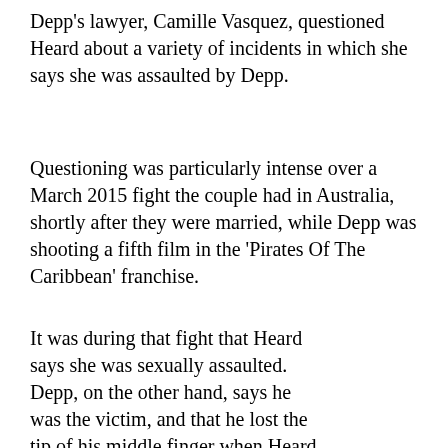Depp's lawyer, Camille Vasquez, questioned Heard about a variety of incidents in which she says she was assaulted by Depp.
Questioning was particularly intense over a March 2015 fight the couple had in Australia, shortly after they were married, while Depp was shooting a fifth film in the 'Pirates Of The Caribbean' franchise.
It was during that fight that Heard says she was sexually assaulted. Depp, on the other hand, says he was the victim, and that he lost the tip of his middle finger when Heard threw a vodka bottle at him.
You May Like
[Figure (photo): Close-up photo of skin/fingers, partially visible at bottom left]
[Figure (screenshot): Black video player panel with a white circle loading indicator, partially visible at bottom right]